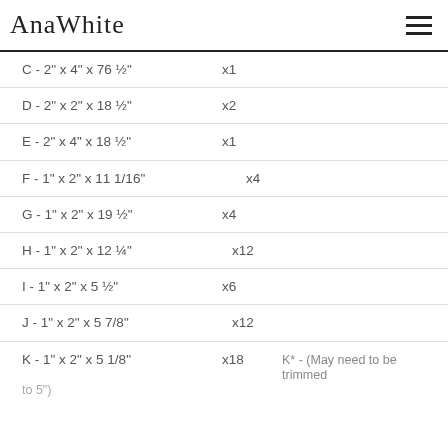AnaWhite
C - 2" x 4" x 76 ½"   x1
D - 2" x 2" x 18 ½"   x2
E - 2" x 4" x 18 ½"   x1
F - 1" x 2" x 11 1/16"   x4
G - 1" x 2" x 19 ½"   x4
H - 1" x 2" x 12 ¼"   x12
I - 1" x 2" x 5 ½"   x6
J - 1" x 2" x 5 7/8"   x12
K - 1" x 2" x 5 1/8"   x18   K* - (May need to be trimmed to 5")